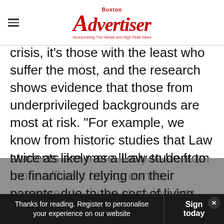Buxton Advertiser — Incorporating The Herald and High Peak News
crisis, it's those with the least who suffer the most, and the research shows evidence that those from underprivileged backgrounds are most at risk. “For example, we know from historic studies that Law students are more likely to be from more affluent backgrounds, compared to those studying Arts courses. Our new research shows an Arts student is nearly twice as likely as a Law student to be financially relying on their parents, due to the cost of living
Thanks for reading. Register to personalise your experience on our website | Sign today